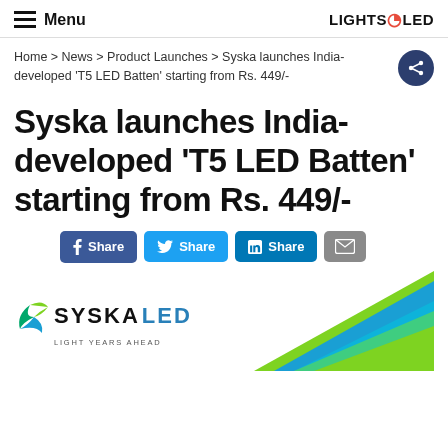Menu | LIGHTS&LED
Home > News > Product Launches > Syska launches India-developed 'T5 LED Batten' starting from Rs. 449/-
Syska launches India-developed ‘T5 LED Batten’ starting from Rs. 449/-
Share | Share | Share | (email)
[Figure (logo): Syska LED logo with 'Light Years Ahead' tagline, and a decorative green/cyan angled banner on the right side]